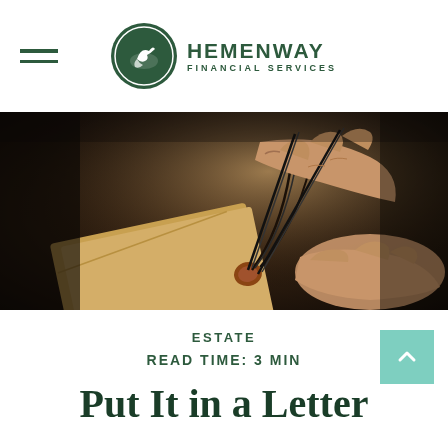HEMENWAY FINANCIAL SERVICES
[Figure (photo): Close-up photo of hands using needles to sew or work on a tan/leather envelope or notebook with twine, on a dark background.]
ESTATE
READ TIME: 3 MIN
Put It in a Letter